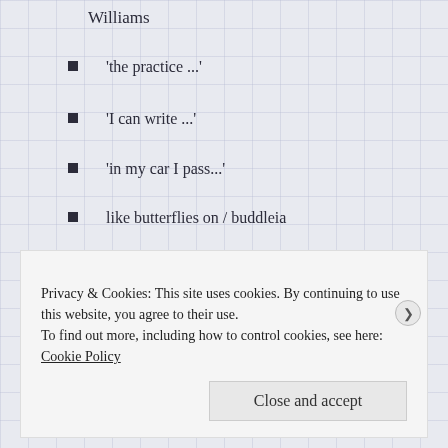Williams
'the practice ...'
'I can write ...'
'in my car I pass...'
like butterflies on / buddleia
meanwhile
'hello old friend ...'
under the blue and blue sky
CATEGORY SKY
Privacy & Cookies: This site uses cookies. By continuing to use this website, you agree to their use. To find out more, including how to control cookies, see here: Cookie Policy
Close and accept